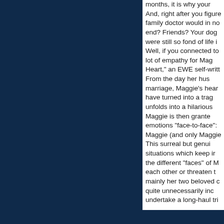months, it is why your And, right after you figure family doctor would in no end? Friends? Your dog were still so fond of life i Well, if you connected to lot of empathy for Mag Heart," an EWE self-writtl From the day her hus marriage, Maggie's hear have turned into a trag unfolds into a hilarious Maggie is then grante emotions "face-to-face": Maggie (and only Maggie This surreal but genui situations which keep ir the different "faces" of M each other or threaten t mainly her two beloved c quite unnecessarily inc undertake a long-haul tri